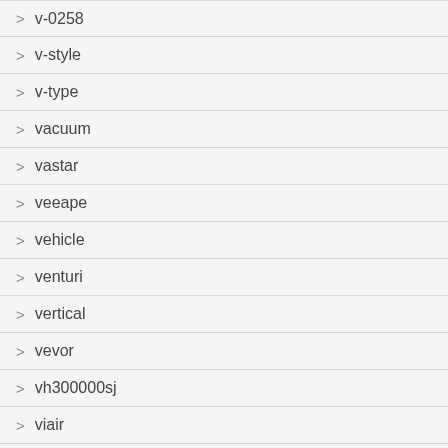> v-0258
> v-style
> v-type
> vacuum
> vastar
> veeape
> vehicle
> venturi
> vertical
> vevor
> vh300000sj
> viair
> vintage